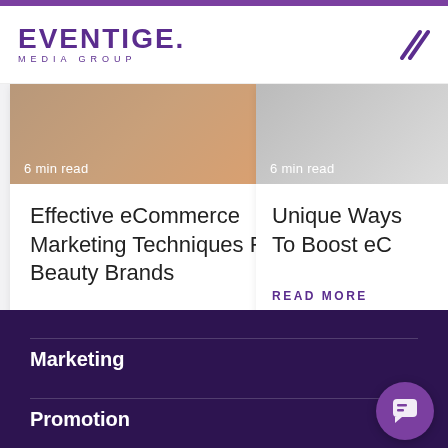EVENTIGE. MEDIA GROUP
[Figure (screenshot): Article card with image overlay reading '6 min read', showing a beauty/skincare product photo]
Effective eCommerce Marketing Techniques For Beauty Brands
READ MORE →
[Figure (screenshot): Partially visible article card with image overlay reading '6 min read']
Unique Ways To Boost eC
READ MORE
Marketing
Promotion